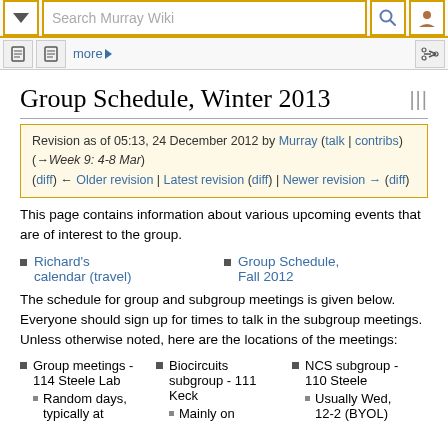Search Murray Wiki (toolbar UI)
Group Schedule, Winter 2013
Revision as of 05:13, 24 December 2012 by Murray (talk | contribs) (→Week 9: 4-8 Mar)
(diff) ← Older revision | Latest revision (diff) | Newer revision → (diff)
This page contains information about various upcoming events that are of interest to the group.
Richard's calendar (travel)
Group Schedule, Fall 2012
The schedule for group and subgroup meetings is given below. Everyone should sign up for times to talk in the subgroup meetings. Unless otherwise noted, here are the locations of the meetings:
Group meetings - 114 Steele Lab
Random days, typically at
Biocircuits subgroup - 111 Keck
Mainly on
NCS subgroup - 110 Steele
Usually Wed, 12-2 (BYOL)